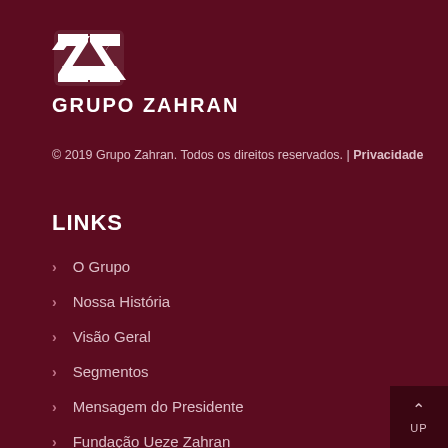[Figure (logo): Grupo Zahran logo — stylized double-Z chevron mark in white above the text GRUPO ZAHRAN in bold white capitals]
© 2019 Grupo Zahran. Todos os direitos reservados. | Privacidade
LINKS
O Grupo
Nossa História
Visão Geral
Segmentos
Mensagem do Presidente
Fundação Ueze Zahran